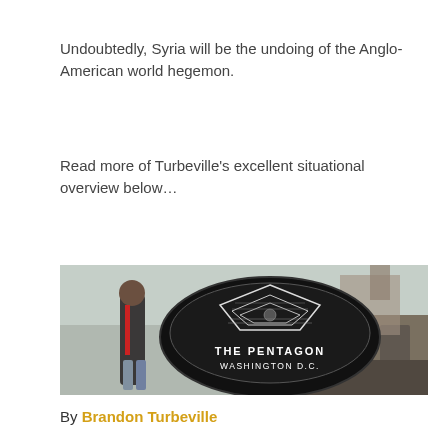Undoubtedly, Syria will be the undoing of the Anglo-American world hegemon.
Read more of Turbeville’s excellent situational overview below…
[Figure (photo): A child standing amid rubble of destroyed buildings with a superimposed Pentagon logo (black oval with white building illustration and text 'THE PENTAGON WASHINGTON D.C.')]
By Brandon Turbeville